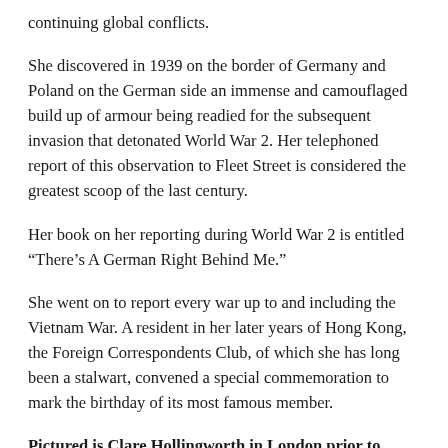continuing global conflicts.
She discovered in 1939 on the border of Germany and Poland on the German side an immense and camouflaged build up of armour being readied for the subsequent invasion that detonated World War 2. Her telephoned report of this observation to Fleet Street is considered the greatest scoop of the last century.
Her book on her reporting during World War 2 is entitled “There’s A German Right Behind Me.”
She went on to report every war up to and including the Vietnam War. A resident in her later years of Hong Kong, the Foreign Correspondents Club, of which she has long been a stalwart, convened a special commemoration to mark the birthday of its most famous member.
Pictured is Clare Hollingworth in London prior to World War 2, and in Wellington with National Press Club president Peter Isaac. Her appearance in Wellington was the National Press Club’s contribution